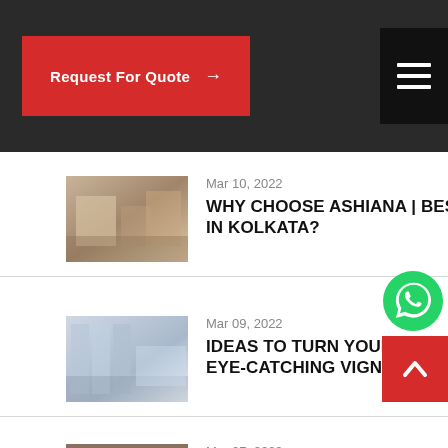Request For Quote →
Mar 10, 2022
WHY CHOOSE ASHIANA | BEST INTERIOR DESIGNER IN KOLKATA?
[Figure (photo): Interior design room thumbnail image for Mar 10, 2022 article]
Mar 09, 2022
IDEAS TO TURN YOUR AWKWARD CORNERS INTO AN EYE-CATCHING VIGNETTE
[Figure (photo): Interior room with large windows thumbnail image for Mar 09, 2022 article]
[Figure (photo): Thumbnail image for Mar 07, 2022 article]
Mar 07, 2022
[Figure (illustration): WhatsApp contact icon - green circle with phone handset]
[Figure (illustration): Back to top button - red square with white upward chevron]